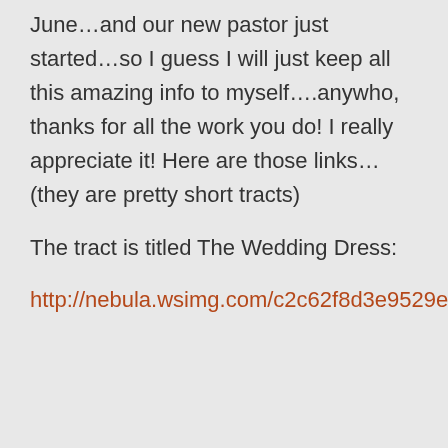June…and our new pastor just started…so I guess I will just keep all this amazing info to myself….anywho, thanks for all the work you do! I really appreciate it! Here are those links…(they are pretty short tracts)
The tract is titled The Wedding Dress:
http://nebula.wsimg.com/c2c62f8d3e9529e8d48b564a81080de1?